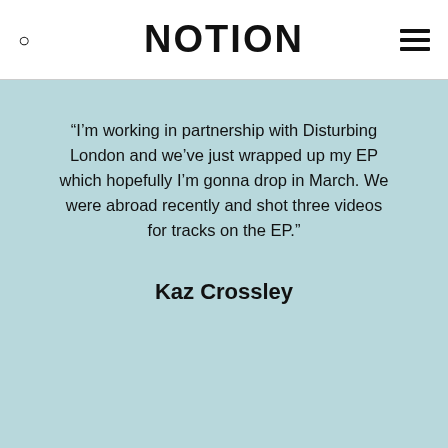NOTION
“I’m working in partnership with Disturbing London and we’ve just wrapped up my EP which hopefully I’m gonna drop in March. We were abroad recently and shot three videos for tracks on the EP.”
Kaz Crossley